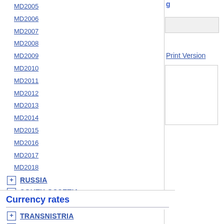MD2005
MD2006
MD2007
MD2008
MD2009
MD2010
MD2011
MD2012
MD2013
MD2014
MD2015
MD2016
MD2017
MD2018
RUSSIA
SOUTH OSSETIA
TAJIKISTAN
TRANSNISTRIA
TURKMENISTAN
UKRAINE
UZBEKISTAN
Print Version
Currency rates